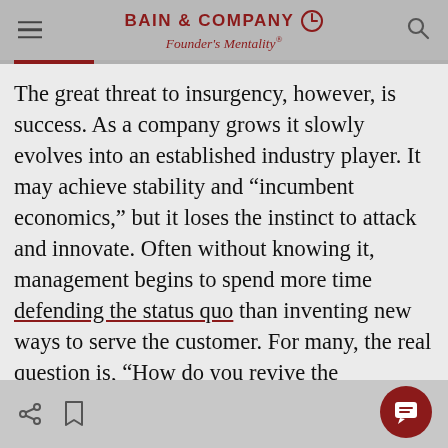BAIN & COMPANY Founder's Mentality®
The great threat to insurgency, however, is success. As a company grows it slowly evolves into an established industry player. It may achieve stability and "incumbent economics," but it loses the instinct to attack and innovate. Often without knowing it, management begins to spend more time defending the status quo than inventing new ways to serve the customer. For many, the real question is, "How do you revive the insurgency once it begins to fade?"